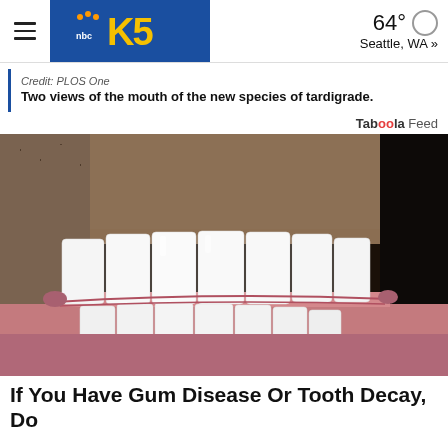KING5 NBC Seattle — 64° Seattle, WA »
Credit: PLOS One
Two views of the mouth of the new species of tardigrade.
Taboola Feed
[Figure (photo): Close-up photo of a man's mouth showing very white, straight teeth (possibly veneers) with stubble/beard around the mouth area.]
If You Have Gum Disease Or Tooth Decay, Do